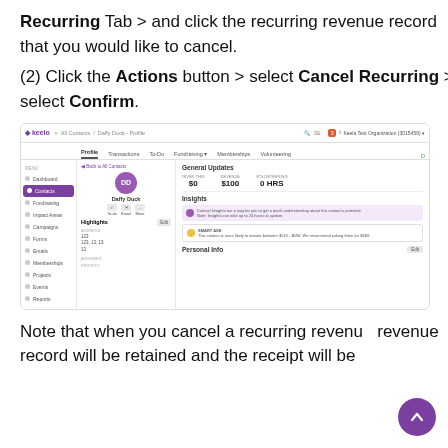Recurring Tab > and click the recurring revenue record that you would like to cancel.
(2) Click the Actions button > select Cancel Recurring > select Confirm.
[Figure (screenshot): Screenshot of Keelo CRM application showing a contact profile page for Daffy Duck, with sidebar navigation, General Updates section showing $0 given this year and $100 revenue, Insights section, and Personal Info section.]
Note that when you cancel a recurring revenue record will be retained and the receipt will be